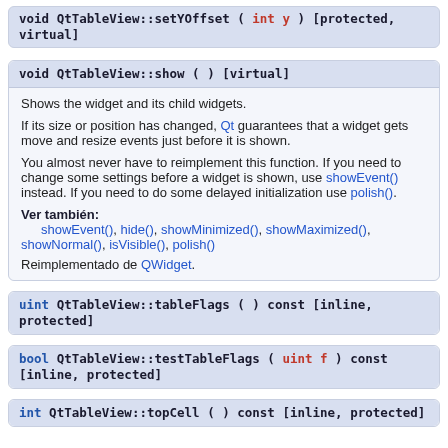void QtTableView::setYOffset ( int y ) [protected, virtual]
void QtTableView::show ( ) [virtual]
Shows the widget and its child widgets.
If its size or position has changed, Qt guarantees that a widget gets move and resize events just before it is shown.
You almost never have to reimplement this function. If you need to change some settings before a widget is shown, use showEvent() instead. If you need to do some delayed initialization use polish().
Ver también: showEvent(), hide(), showMinimized(), showMaximized(), showNormal(), isVisible(), polish()
Reimplementado de QWidget.
uint QtTableView::tableFlags ( ) const [inline, protected]
bool QtTableView::testTableFlags ( uint f ) const [inline, protected]
int QtTableView::topCell ( ) const [inline, protected]